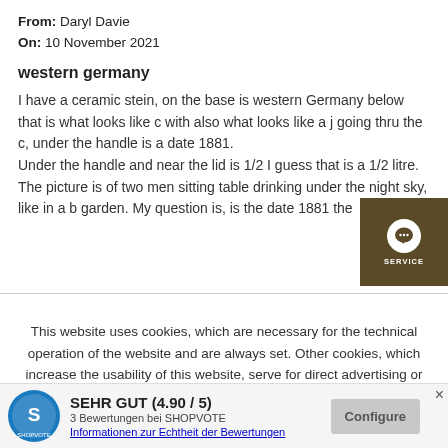From: Daryl Davie
On: 10 November 2021
western germany
I have a ceramic stein, on the base is western Germany below that is what looks like c with also what looks like a j going thru the c, under the handle is a date 1881.
Under the handle and near the lid is 1/2 I guess that is a 1/2 litre. The picture is of two men sitting table drinking under the night sky, like in a b garden. My question is, is the date 1881 the
This website uses cookies, which are necessary for the technical operation of the website and are always set. Other cookies, which increase the usability of this website, serve for direct advertising or simplify interaction with other websites and social networks, will only be used with your consent.
SEHR GUT (4.90 / 5)
3 Bewertungen bei SHOPVOTE
Informationen zur Echtheit der Bewertungen